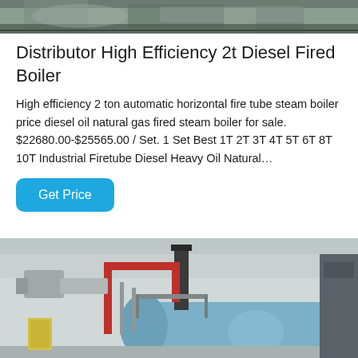[Figure (photo): Top portion of industrial boiler equipment photo, partially cropped]
Distributor High Efficiency 2t Diesel Fired Boiler
High efficiency 2 ton automatic horizontal fire tube steam boiler price diesel oil natural gas fired steam boiler for sale. $22680.00-$25565.00 / Set. 1 Set Best 1T 2T 3T 4T 5T 6T 8T 10T Industrial Firetube Diesel Heavy Oil Natural…
[Figure (photo): Industrial boiler room showing a large horizontal blue boiler with red pipes, metal ductwork, and chimney stack inside a white building]